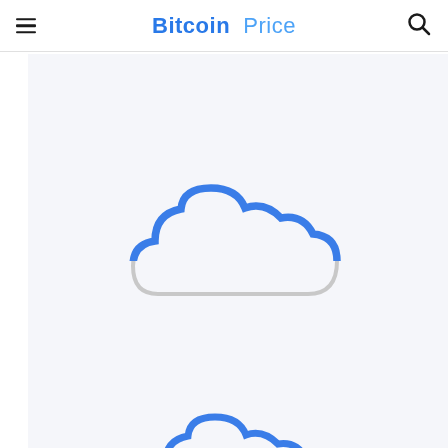Bitcoin Price
[Figure (illustration): Cloud icon with blue top outline and grey bottom outline, centered in the upper content area]
[Figure (illustration): Cloud icon with blue outline, partially visible at the bottom of the page]